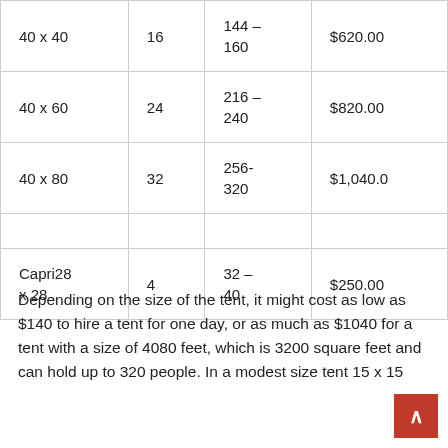| 40 x 40 | 16 | 144 – 160 | $620.00 |
| 40 x 60 | 24 | 216 – 240 | $820.00 |
| 40 x 80 | 32 | 256-320 | $1,040.00 |
| Capri28 x 28 | 4 | 32 – 40 | $250.00 |
Depending on the size of the tent, it might cost as low as $140 to hire a tent for one day, or as much as $1040 for a tent with a size of 4080 feet, which is 3200 square feet and can hold up to 320 people. In a modest size tent 15 x 15 square feet...